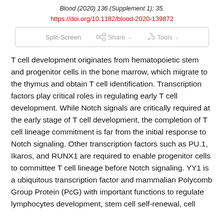Blood (2020) 136 (Supplement 1): 35.
https://doi.org/10.1182/blood-2020-139872
[Figure (screenshot): Toolbar with Split-Screen, Share, and Tools buttons]
T cell development originates from hematopoietic stem and progenitor cells in the bone marrow, which migrate to the thymus and obtain T cell identification. Transcription factors play critical roles in regulating early T cell development. While Notch signals are critically required at the early stage of T cell development, the completion of T cell lineage commitment is far from the initial response to Notch signaling. Other transcription factors such as PU.1, Ikaros, and RUNX1 are required to enable progenitor cells to committee T cell lineage before Notch signaling. YY1 is a ubiquitous transcription factor and mammalian Polycomb Group Protein (PcG) with important functions to regulate lymphocytes development, stem cell self-renewal, cell